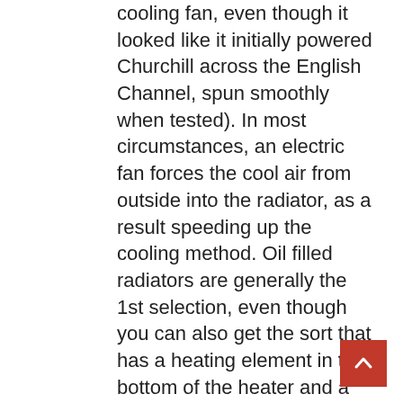cooling fan, even though it looked like it initially powered Churchill across the English Channel, spun smoothly when tested). In most circumstances, an electric fan forces the cool air from outside into the radiator, as a result speeding up the cooling method. Oil filled radiators are generally the 1st selection, even though you can also get the sort that has a heating element in the bottom of the heater and a grill exactly where the warm air is expelled towards the prime of the heater. Collectively with the radiator , a vehicle fan contributes to the cooling of the engine of a vehicle. Once the fins are heated, they release heat into the air, cooling the engine. The AC Delco Auxiliary Fan Assembly increases cooling of your car's coolant. Verify for leakage routinely: The